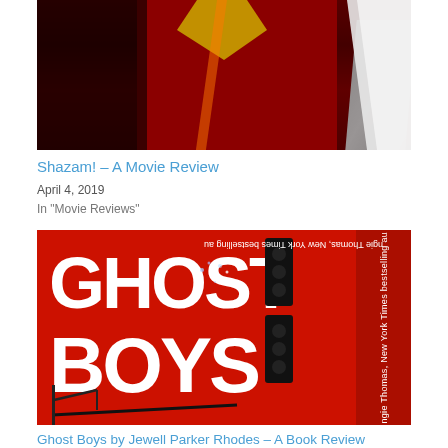[Figure (photo): Shazam movie poster showing superhero in red costume with gold lightning bolt emblem, white cape, and atmospheric lighting]
Shazam! – A Movie Review
April 4, 2019
In "Movie Reviews"
[Figure (photo): Ghost Boys by Jewell Parker Rhodes book cover with red background, large white text 'GHOST BOYS', traffic lights, and vertical author sidebar text]
Ghost Boys by Jewell Parker Rhodes – A Book Review